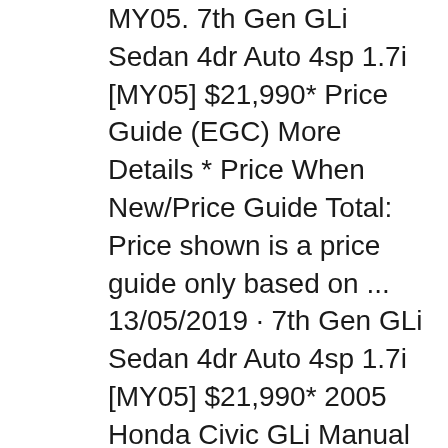MY05. 7th Gen GLi Sedan 4dr Auto 4sp 1.7i [MY05] $21,990* Price Guide (EGC) More Details * Price When New/Price Guide Total: Price shown is a price guide only based on ... 13/05/2019 · 7th Gen GLi Sedan 4dr Auto 4sp 1.7i [MY05] $21,990* 2005 Honda Civic GLi Manual MY05. 7th Gen GLi Sedan 4dr Man 5sp 1.7i [MY05] $19,990* Price Guide (EGC) More Details . 2005 Honda Civic GLi Auto MY05. 7th Gen GLi Sedan 4dr Auto 4sp 1.7i [MY05] $21,990* Price Guide (EGC) More Details * Price When New/Price Guide Total: Price shown is a price guide only based on ...
13/05/2019 · 7th Gen GLi Sedan 4dr Auto 4sp 1.7i [MY05] $21,990* 2005